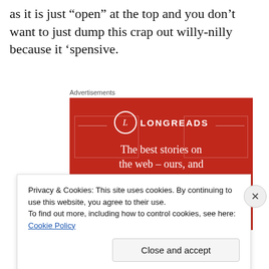as it is just “open” at the top and you don’t want to just dump this crap out willy-nilly because it ‘spensive.
Advertisements
[Figure (illustration): Longreads advertisement banner with red background. Shows Longreads logo (circle with L), tagline 'The best stories on the web – ours, and everyone else’s.' and a 'Start reading' button.]
Privacy & Cookies: This site uses cookies. By continuing to use this website, you agree to their use.
To find out more, including how to control cookies, see here: Cookie Policy
Close and accept